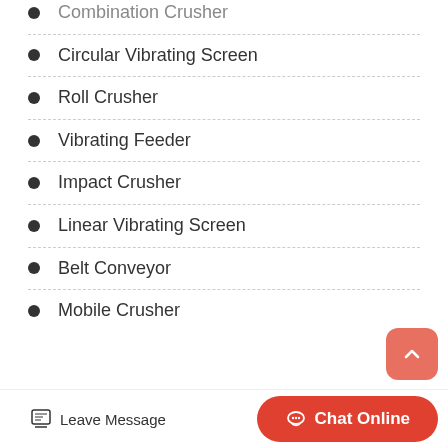Combination Crusher
Circular Vibrating Screen
Roll Crusher
Vibrating Feeder
Impact Crusher
Linear Vibrating Screen
Belt Conveyor
Mobile Crusher
Leave Message   Chat Online